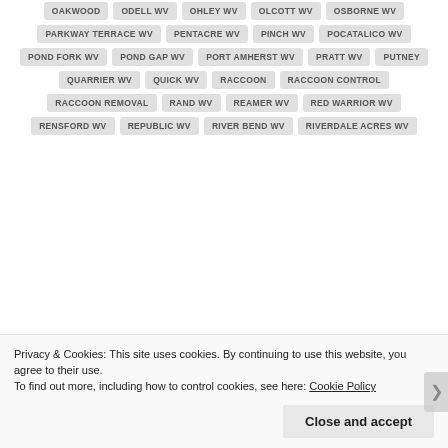OAKWOOD
ODELL WV
OHLEY WV
OLCOTT WV
OSBORNE WV
PARKWAY TERRACE WV
PENTACRE WV
PINCH WV
POCATALICO WV
POND FORK WV
POND GAP WV
PORT AMHERST WV
PRATT WV
PUTNEY
QUARRIER WV
QUICK WV
RACCOON
RACCOON CONTROL
RACCOON REMOVAL
RAND WV
REAMER WV
RED WARRIOR WV
RENSFORD WV
REPUBLIC WV
RIVER BEND WV
RIVERDALE ACRES WV
Privacy & Cookies: This site uses cookies. By continuing to use this website, you agree to their use. To find out more, including how to control cookies, see here: Cookie Policy